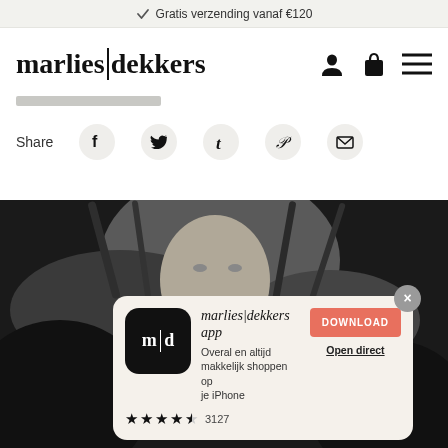✓ Gratis verzending vanaf €120
marlies|dekkers
Share
[Figure (screenshot): Black and white close-up photo of a woman with long hair against dark background]
[Figure (infographic): App download popup for marlies|dekkers app. Text: marlies|dekkers app. Overal en altijd makkelijk shoppen op je iPhone. Rating: 4.5 stars, 3127 reviews. DOWNLOAD button and Open direct link.]